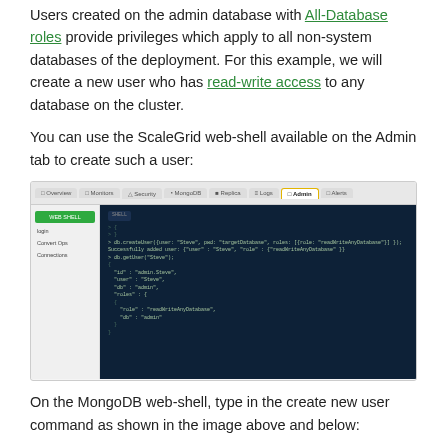Users created on the admin database with All-Database roles provide privileges which apply to all non-system databases of the deployment. For this example, we will create a new user who has read-write access to any database on the cluster.
You can use the ScaleGrid web-shell available on the Admin tab to create such a user:
[Figure (screenshot): Screenshot of the ScaleGrid web-shell interface showing the Admin tab selected (highlighted with yellow border), a left sidebar with WEB SHELL button, login, Convert Ops, and Connections options, and a dark code panel showing MongoDB shell commands to create a user with readWriteAnyDatabase role.]
On the MongoDB web-shell, type in the create new user command as shown in the image above and below: